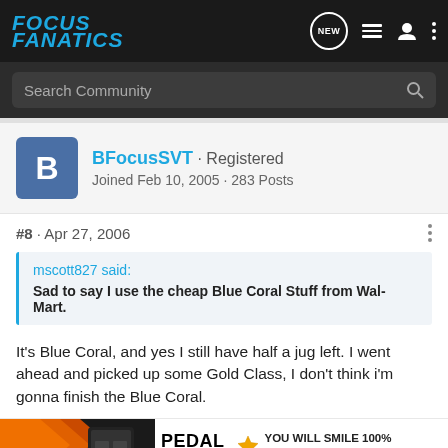Focus Fanatics
Search Community
BFocusSVT · Registered
Joined Feb 10, 2005 · 283 Posts
#8 · Apr 27, 2006
mscott827 said:
Sad to say I use the cheap Blue Coral Stuff from Wal-Mart.
It's Blue Coral, and yes I still have half a jug left. I went ahead and picked up some Gold Class, I don't think i'm gonna finish the Blue Coral.
[Figure (screenshot): Pedal Commander advertisement banner]
Reply